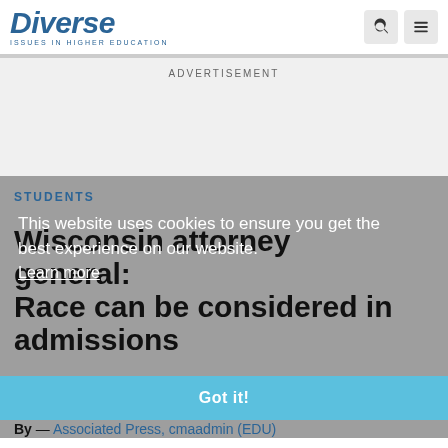Diverse: Issues in Higher Education
ADVERTISEMENT
STUDENTS
Wisconsin attorney general: Race can be considered in admissions
This website uses cookies to ensure you get the best experience on our website. Learn more
By — Associated Press, cmaadmin (EDU)
Jul 26, 2007